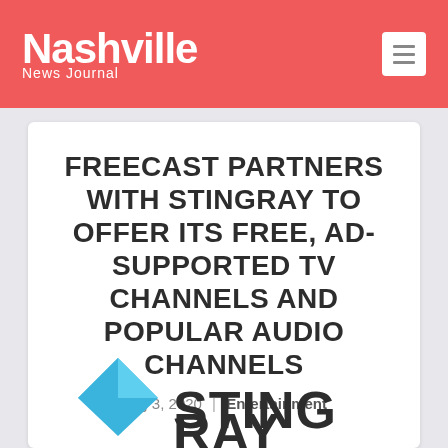Nashville News Journal
FREECAST PARTNERS WITH STINGRAY TO OFFER ITS FREE, AD-SUPPORTED TV CHANNELS AND POPULAR AUDIO CHANNELS
Aug 3, 2020 | Entertainment
[Figure (logo): Stingray logo - blue diamond/kite shape with partial text 'STINGRAY' visible at bottom]